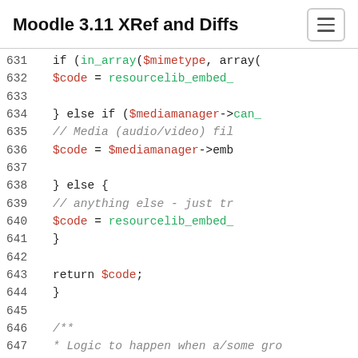Moodle 3.11 XRef and Diffs
[Figure (screenshot): Code viewer showing PHP source lines 631-649 with syntax highlighting. Line numbers on left, code with red variables, green functions, and grey italic comments on right.]